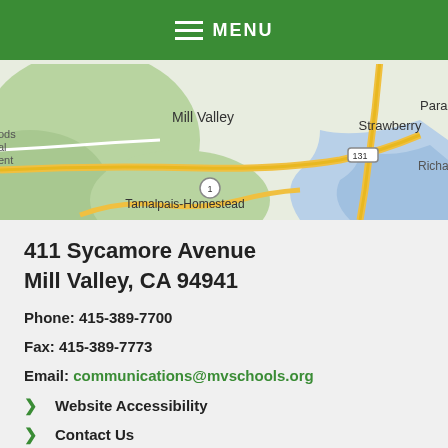MENU
[Figure (map): Google map showing Mill Valley, Strawberry, Tamalpais-Homestead, and surrounding area in Marin County, CA, with route markers for highways 1 and 131.]
411 Sycamore Avenue
Mill Valley, CA 94941
Phone: 415-389-7700
Fax: 415-389-7773
Email: communications@mvschools.org
Website Accessibility
Contact Us
Employment